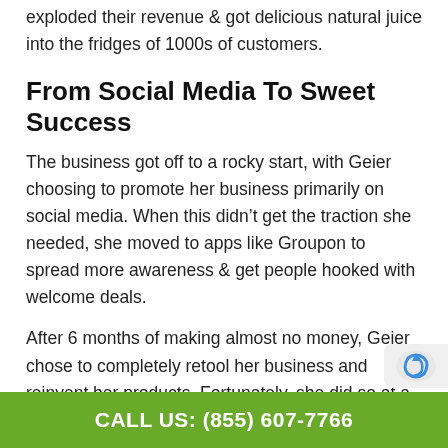exploded their revenue & got delicious natural juice into the fridges of 1000s of customers.
From Social Media To Sweet Success
The business got off to a rocky start, with Geier choosing to promote her business primarily on social media. When this didn't get the traction she needed, she moved to apps like Groupon to spread more awareness & get people hooked with welcome deals.
After 6 months of making almost no money, Geier chose to completely retool her business and reinvent her products. Fortunately, she did so at a time when juice cleansing was becoming the latest health trend.
In response to this growing health phenomenon, M…
CALL US: (855) 607-7766